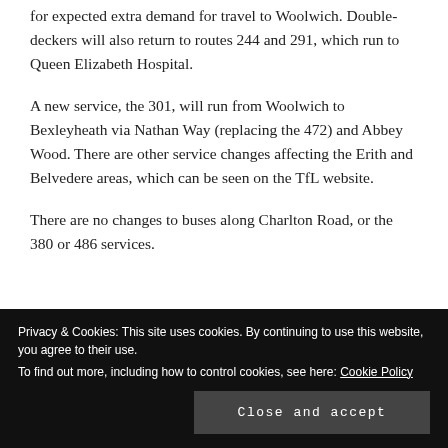for expected extra demand for travel to Woolwich. Double-deckers will also return to routes 244 and 291, which run to Queen Elizabeth Hospital.
A new service, the 301, will run from Woolwich to Bexleyheath via Nathan Way (replacing the 472) and Abbey Wood. There are other service changes affecting the Erith and Belvedere areas, which can be seen on the TfL website.
There are no changes to buses along Charlton Road, or the 380 or 486 services.
Privacy & Cookies: This site uses cookies. By continuing to use this website, you agree to their use. To find out more, including how to control cookies, see here: Cookie Policy